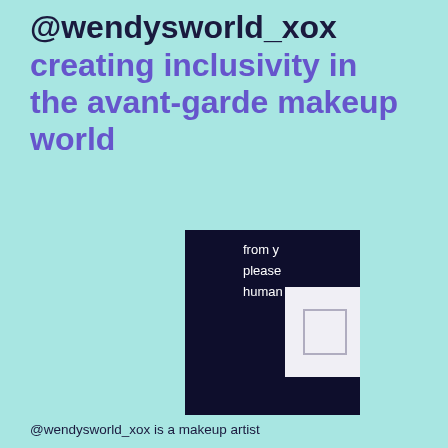@wendysworld_xox creating inclusivity in the avant-garde makeup world
[Figure (screenshot): A partially visible dark navy screenshot showing text 'from y', 'please', 'human' on the right side, with a white card containing a light square outline overlaid near the bottom right.]
@wendysworld_xox is a makeup artist